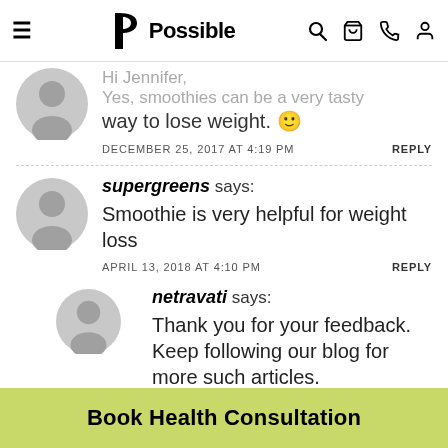Possible — navigation bar with hamburger, logo, search, cart, phone, profile icons
Hi Jennifer,
Yes, smoothies can be a very tasty way to lose weight. 😊
DECEMBER 25, 2017 AT 4:19 PM   REPLY
supergreens says:
Smoothie is very helpful for weight loss
APRIL 13, 2018 AT 4:10 PM   REPLY
netravati says:
Thank you for your feedback. Keep following our blog for more such articles.
Book Health Consultation